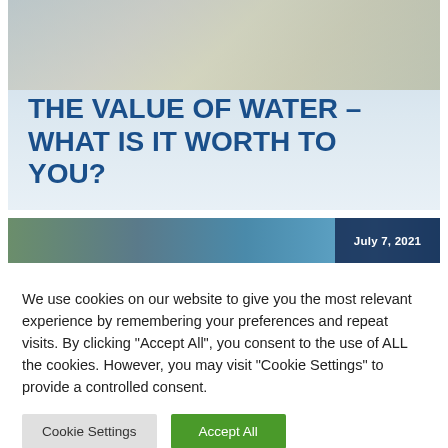[Figure (photo): Hero image card showing hands holding US dollar bills overlaid on a light blue gradient background, with bold blue title text reading 'THE VALUE OF WATER – WHAT IS IT WORTH TO YOU?']
THE VALUE OF WATER – WHAT IS IT WORTH TO YOU?
[Figure (photo): Partial image card showing a building with trees against a blue sky, with a dark overlay badge showing the date 'July 7, 2021']
We use cookies on our website to give you the most relevant experience by remembering your preferences and repeat visits. By clicking "Accept All", you consent to the use of ALL the cookies. However, you may visit "Cookie Settings" to provide a controlled consent.
Cookie Settings
Accept All